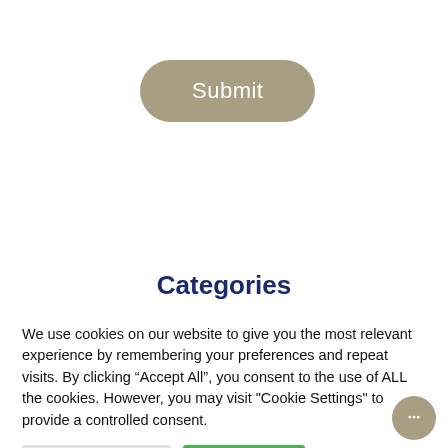[Figure (screenshot): A rounded pill-shaped Submit button with khaki/tan background color and white text reading 'Submit']
Categories
We use cookies on our website to give you the most relevant experience by remembering your preferences and repeat visits. By clicking “Accept All”, you consent to the use of ALL the cookies. However, you may visit "Cookie Settings" to provide a controlled consent.
[Figure (screenshot): Two buttons: a grey 'Cookie Settings' button and a green 'Accept All' button, and a circular chat widget icon in the bottom right corner]